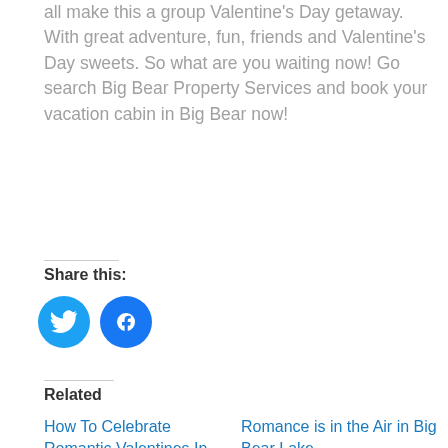all make this a group Valentine's Day getaway. With great adventure, fun, friends and Valentine's Day sweets. So what are you waiting now! Go search Big Bear Property Services and book your vacation cabin in Big Bear now!
Share this:
[Figure (other): Twitter and Facebook share icon buttons]
Related
How To Celebrate Romantic Valentines In
Romance is in the Air in Big Bear Lake